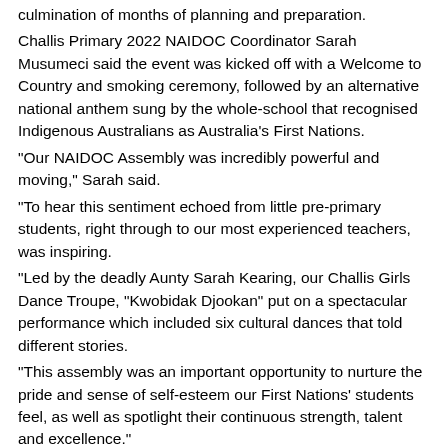culmination of months of planning and preparation. Challis Primary 2022 NAIDOC Coordinator Sarah Musumeci said the event was kicked off with a Welcome to Country and smoking ceremony, followed by an alternative national anthem sung by the whole-school that recognised Indigenous Australians as Australia's First Nations. "Our NAIDOC Assembly was incredibly powerful and moving," Sarah said. "To hear this sentiment echoed from little pre-primary students, right through to our most experienced teachers, was inspiring. "Led by the deadly Aunty Sarah Kearing, our Challis Girls Dance Troupe, "Kwobidak Djookan" put on a spectacular performance which included six cultural dances that told different stories. "This assembly was an important opportunity to nurture the pride and sense of self-esteem our First Nations' students feel, as well as spotlight their continuous strength, talent and excellence." Matt Keogh MP said the assembly was both moving and celebratory. "I was proud to present the school with brand new Australian, Torres Strait Islander, and Aboriginal flags," Mr Keogh said.